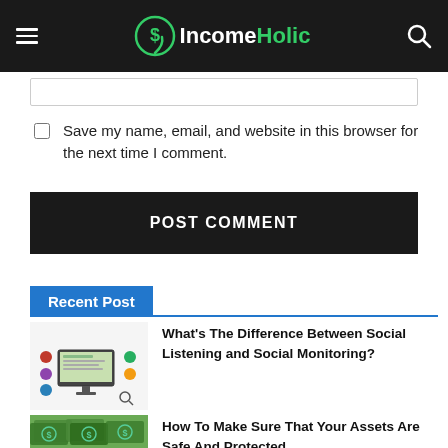IncomeHolic
Save my name, email, and website in this browser for the next time I comment.
POST COMMENT
Recent Post
[Figure (screenshot): Social media monitoring illustration with computer screen and social icons]
What's The Difference Between Social Listening and Social Monitoring?
[Figure (photo): Pile of US dollar bills]
How To Make Sure That Your Assets Are Safe And Protected